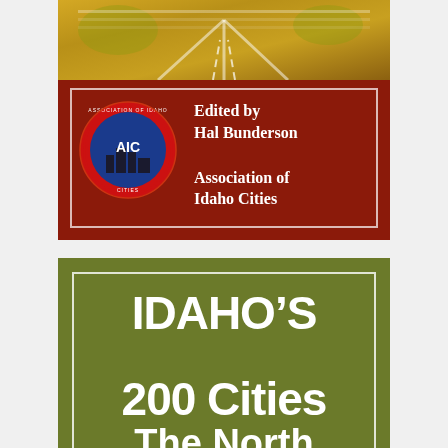[Figure (illustration): Book cover - top portion showing dark red/brown background with a photo strip at top depicting a road/highway scene in golden tones. An AIC (Association of Idaho Cities) circular logo is on the left side.]
Edited by
Hal Bunderson
Association of
Idaho Cities
[Figure (illustration): Book cover - bottom portion showing olive green background with white border inset containing the title text IDAHO'S 200 Cities The North]
IDAHO'S 200 Cities The North